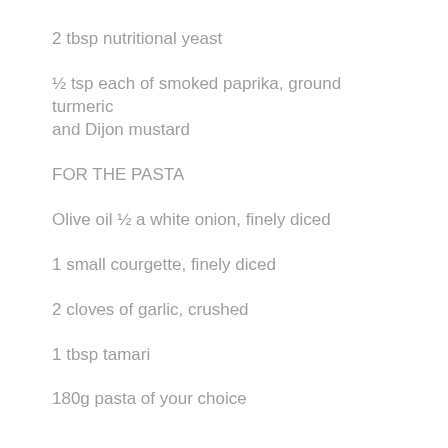2 tbsp nutritional yeast
½ tsp each of smoked paprika, ground turmeric and Dijon mustard
FOR THE PASTA
Olive oil ½ a white onion, finely diced
1 small courgette, finely diced
2 cloves of garlic, crushed
1 tbsp tamari
180g pasta of your choice